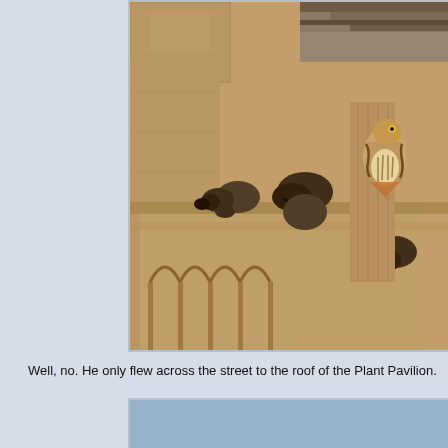[Figure (photo): A hawk or red-tailed hawk perched on ornate stone gargoyle architectural details of a Gothic-style building facade, with building metalwork visible in the upper right.]
Well, no. He only flew across the street to the roof of the Plant Pavilion.
[Figure (photo): Partial view of a sky-blue background, beginning of a second photograph.]